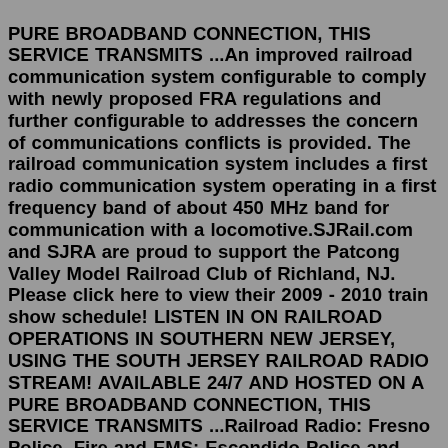PURE BROADBAND CONNECTION, THIS SERVICE TRANSMITS ...An improved railroad communication system configurable to comply with newly proposed FRA regulations and further configurable to addresses the concern of communications conflicts is provided. The railroad communication system includes a first radio communication system operating in a first frequency band of about 450 MHz band for communication with a locomotive.SJRail.com and SJRA are proud to support the Patcong Valley Model Railroad Club of Richland, NJ. Please click here to view their 2009 - 2010 train show schedule! LISTEN IN ON RAILROAD OPERATIONS IN SOUTHERN NEW JERSEY, USING THE SOUTH JERSEY RAILROAD RADIO STREAM! AVAILABLE 24/7 AND HOSTED ON A PURE BROADBAND CONNECTION, THIS SERVICE TRANSMITS ...Railroad Radio: Fresno Police, Fire and EMS: Escondido Police and Fire: Travis County Law Enforcement: Cache County Sheriff's Office: